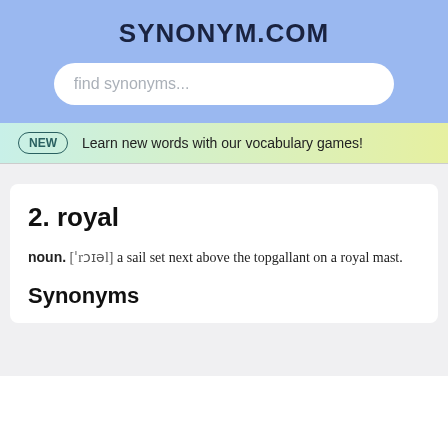SYNONYM.COM
find synonyms...
NEW  Learn new words with our vocabulary games!
2. royal
noun. ["rɔɪəl"] a sail set next above the topgallant on a royal mast.
Synonyms